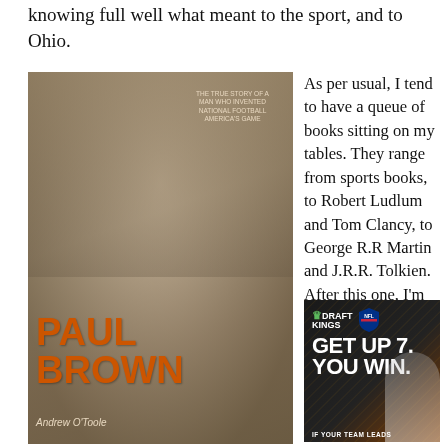knowing full well what meant to the sport, and to Ohio.
[Figure (photo): Book cover of 'Paul Brown: The Rise and Fall and Rise Again of Football's Most Innovative Coach' with sepia-toned imagery]
Paul Brown: The Rise and Fall and Rise Against of Football's Most Innovative Coach
As per usual, I tend to have a queue of books sitting on my tables. They range from sports books, to Robert Ludlum and Tom Clancy, to George R.R Martin and J.R.R. Tolkien. After this one, I'm going after another; Paul Brown: The Rise and Fall and Rise Again of Football's Most Innovative Coach.
[Figure (photo): DraftKings NFL advertisement with 'GET UP 7. YOU WIN.' text and a smiling man, orange and black background]